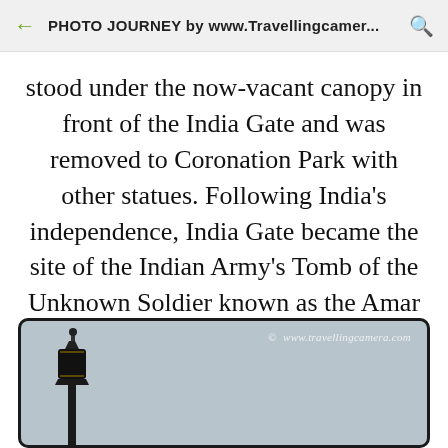PHOTO JOURNEY by www.Travellingcamer...
stood under the now-vacant canopy in front of the India Gate and was removed to Coronation Park with other statues. Following India's independence, India Gate became the site of the Indian Army's Tomb of the Unknown Soldier known as the Amar Jawan Jyoti (Immortal Soldier).
[Figure (photo): Photo with watermark showing a lamp post against a grey sky background, with watermark text '© www.travellingcamera.com']